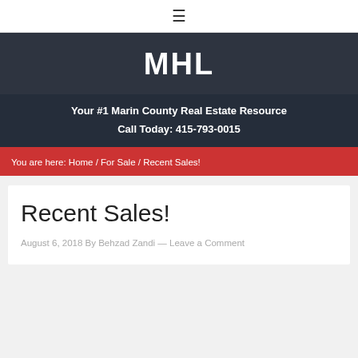☰
MHL
Your #1 Marin County Real Estate Resource
Call Today: 415-793-0015
You are here: Home / For Sale / Recent Sales!
Recent Sales!
August 6, 2018 By Behzad Zandi — Leave a Comment